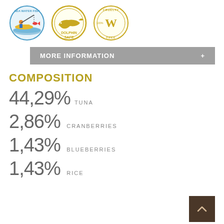[Figure (logo): Three certification badges: Sea Water Fish (colorful badge with fisher on boat), Dolphin Safe (gold dolphin badge), Cruelty Free 100% (gold circular stamp with W)]
MORE INFORMATION +
COMPOSITION
44,29% TUNA
2,86% CRANBERRIES
1,43% BLUEBERRIES
1,43% RICE